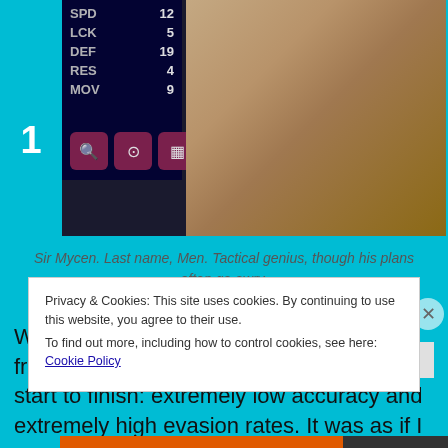[Figure (screenshot): Game screenshot showing character stats panel with SPD 12, LCK 5, DEF 19, RES 4, MOV 9 and action icons, alongside a character portrait of an older mustachioed man in armor]
Sir Mycen. Last name, Men. Tactical genius, though his plans often go awry.
While a good game overall, one major frustration made its presence known from start to finish: extremely low accuracy and extremely high evasion rates. It was as if I
Privacy & Cookies: This site uses cookies. By continuing to use this website, you agree to their use.
To find out more, including how to control cookies, see here: Cookie Policy
Close and accept